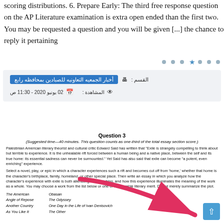scoring distributions. 6. Prepare Early: The third free response question on the AP Literature examination is extra open ended than the first two. You may be requested a question and you will be given [...] the chance to reply it pertaining
[Figure (other): Star rating row with dots and one filled star in blue]
القسم : أخبار الجمعيه التعاونيه للصبادين بمحافظه رابع
المشاهدة : 02 يونيو 2020 - 11:30 ص
Question 3
(Suggested time—40 minutes. This question counts as one-third of the total essay section score.)
Palestinian American literary theorist and cultural critic Edward Said has written that "Exile is strangely compelling to think about but terrible to experience. It is the unhealable rift forced between a human being and a native place, between the self and its true home: its essential sadness can never be surmounted." Yet Said has also said that exile can become "a potent, even enriching" experience.
Select a novel, play, or epic in which a character experiences such a rift and becomes cut off from 'home,' whether that home is the character's birthplace, family, homeland, or other special place. Then write an essay in which you analyze how the character's experience with exile is both alienating and enriching, and how this experience illuminates the meaning of the work as a whole. You may choose a work from the list below or one of comparable literary merit. Do not merely summarize the plot.
The American
Angle of Repose
Another Country
As You Like It
Obasan
The Odyssey
One Day in the Life of Ivan Denisovich
The Other